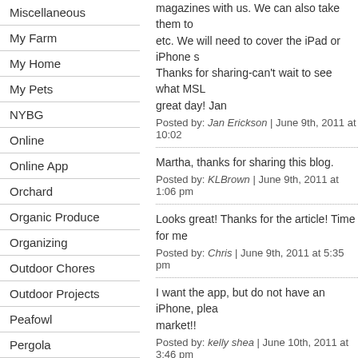Miscellaneous
My Farm
My Home
My Pets
NYBG
Online
Online App
Orchard
Organic Produce
Organizing
Outdoor Chores
Outdoor Projects
Peafowl
Pergola
Pigeons
pinetum
magazines with us. We can also take them to etc. We will need to cover the iPad or iPhone s Thanks for sharing-can't wait to see what MSL great day! Jan
Posted by: Jan Erickson | June 9th, 2011 at 10:02
Martha, thanks for sharing this blog.
Posted by: KLBrown | June 9th, 2011 at 1:06 pm
Looks great! Thanks for the article! Time for me
Posted by: Chris | June 9th, 2011 at 5:35 pm
I want the app, but do not have an iPhone, plea market!!
Posted by: kelly shea | June 10th, 2011 at 3:46 pm